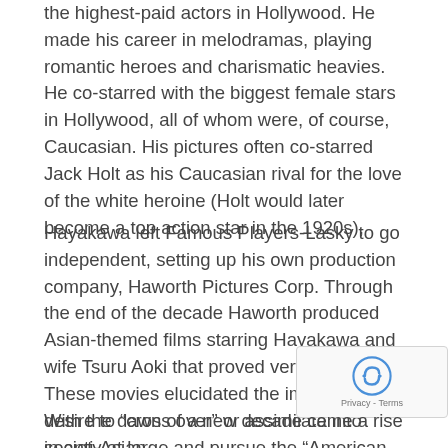the highest-paid actors in Hollywood. He made his career in melodramas, playing romantic heroes and charismatic heavies. He co-starred with the biggest female stars in Hollywood, all of whom were, of course, Caucasian. His pictures often co-starred Jack Holt as his Caucasian rival for the love of the white heroine (Holt would later become a top action star in the 1920s),
Hayakawa left Famous Players-Lasky to go independent, setting up his own production company, Haworth Pictures Corp. Through the end of the decade Haworth produced Asian-themed films starring Hayakawa and wife Tsuru Aoki that proved very popular. These movies elucidated the immigrant's desire to “cross over” or assimilate into society at large and pursue the “American Dream” in a society free of racial intolerance. Sadly, most of these films are now lo
With the dawn of a new decade came a rise in anti-Asian